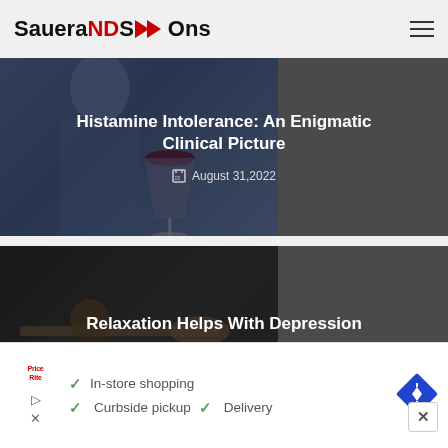SaueraNDS→Ons
[Figure (photo): Article card image: Histamine Intolerance: An Enigmatic Clinical Picture, dated August 31, 2022. Background shows a person with a wine glass.]
Histamine Intolerance: An Enigmatic Clinical Picture
August 31, 2022
[Figure (photo): Article card image: Relaxation Helps With Depression, dated August 31, 2022. Background shows a person relaxing.]
Relaxation Helps With Depression
August 31, 2022
[Figure (screenshot): Advertisement banner showing store services: In-store shopping, Curbside pickup, Delivery. Features a store logo and navigation arrow icon.]